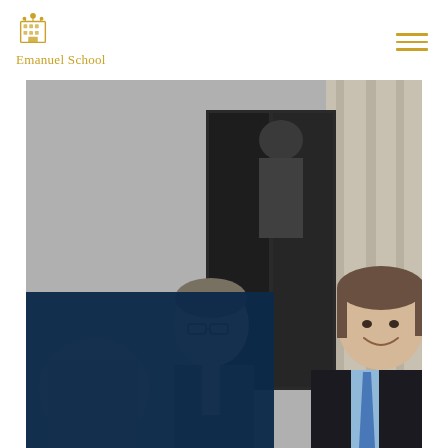Emanuel School
[Figure (photo): Group of men in suits standing outside a building entrance. A smiling man with medium-length brown hair wearing a dark suit and blue tie stands prominently on the right. Two other men in suits are visible on the left side. A navy blue overlay panel covers the lower left portion of the image.]